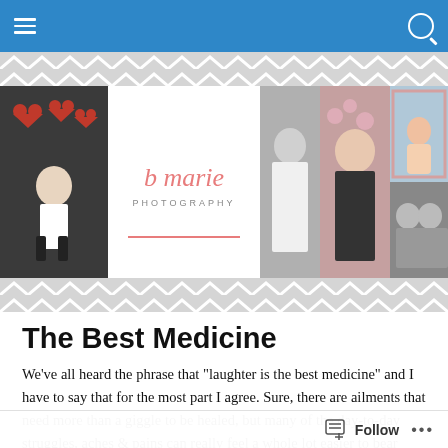[Figure (screenshot): Blue navigation bar with hamburger menu icon on left and search icon on right]
[Figure (illustration): Chevron/arrow pattern decorative band in grey and white]
[Figure (photo): B Marie Photography website banner showing logo and collage of portrait photos including child, bride, woman, newborn, and couple]
[Figure (illustration): Chevron/arrow pattern decorative band in grey and white (bottom)]
The Best Medicine
We’ve all heard the phrase that “laughter is the best medicine” and I have to say that for the most part I agree. Sure, there are ailments that need more than a giggle to be healed, but many of the day-to-day struggles, aches & pains can really feel a whole lot easier to bear after a good
Follow ...